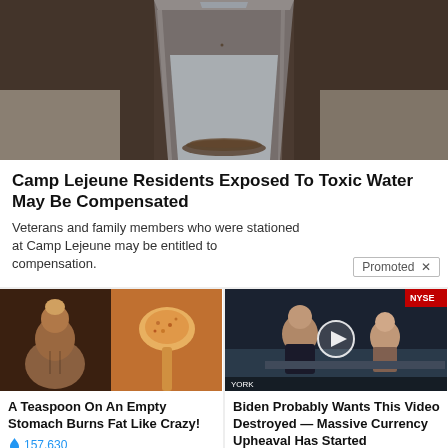[Figure (photo): Close-up photo of a glass of water with dark sediment/particles settled at the bottom, on a light surface.]
Camp Lejeune Residents Exposed To Toxic Water May Be Compensated
Veterans and family members who were stationed at Camp Lejeune may be entitled to compensation.
Promoted ×
[Figure (photo): Collage image showing a muscular person on the left and a spoon with orange spice/powder on the right.]
A Teaspoon On An Empty Stomach Burns Fat Like Crazy!
🔥 157,630
[Figure (screenshot): Screenshot of a news video thumbnail showing two people at a desk in a TV studio with NYSE signage in background and a play button overlay.]
Biden Probably Wants This Video Destroyed — Massive Currency Upheaval Has Started
🔥 116,536